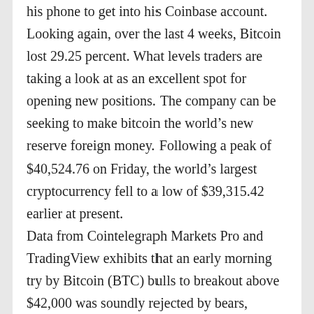his phone to get into his Coinbase account. Looking again, over the last 4 weeks, Bitcoin lost 29.25 percent. What levels traders are taking a look at as an excellent spot for opening new positions. The company can be seeking to make bitcoin the world’s new reserve foreign money. Following a peak of $40,524.76 on Friday, the world’s largest cryptocurrency fell to a low of $39,315.42 earlier at present.
Data from Cointelegraph Markets Pro and TradingView exhibits that an early morning try by Bitcoin (BTC) bulls to breakout above $42,000 was soundly rejected by bears, leading to a pullback to a day by day low of $40,825 earlier than the value was bid back above $41,000. Pseudonymous Twitter user